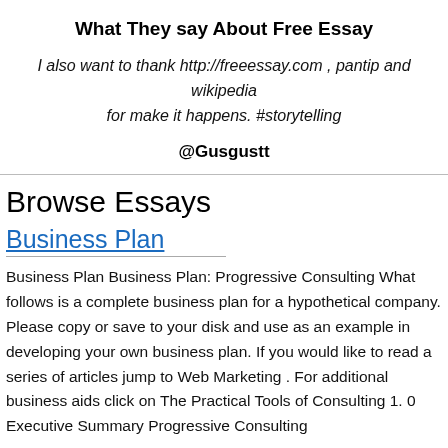What They say About Free Essay
I also want to thank http://freeessay.com , pantip and wikipedia for make it happens. #storytelling
@Gusgustt
Browse Essays
Business Plan
Business Plan Business Plan: Progressive Consulting What follows is a complete business plan for a hypothetical company. Please copy or save to your disk and use as an example in developing your own business plan. If you would like to read a series of articles jump to Web Marketing . For additional business aids click on The Practical Tools of Consulting 1. 0 Executive Summary Progressive Consulting